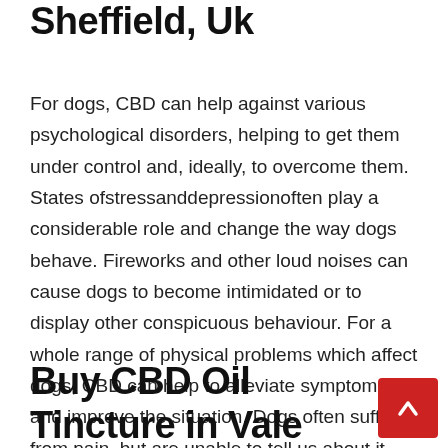Sheffield, Uk
For dogs, CBD can help against various psychological disorders, helping to get them under control and, ideally, to overcome them. States ofstressanddepressionoften play a considerable role and change the way dogs behave. Fireworks and other loud noises can cause dogs to become intimidated or to display other conspicuous behaviour. For a whole range of physical problems which affect dogs, CBD can help to alleviate symptoms and improve the situation. Dogs often suffer from pain, but are unable to tell us about it.
Buy CBD Oil Tincture in Vale Royal, UK